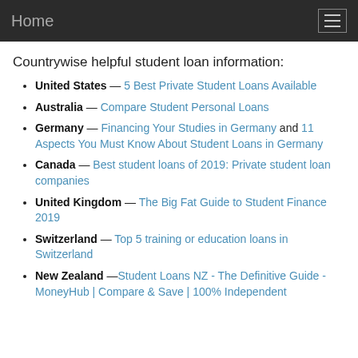Home
Countrywise helpful student loan information:
United States — 5 Best Private Student Loans Available
Australia — Compare Student Personal Loans
Germany — Financing Your Studies in Germany and 11 Aspects You Must Know About Student Loans in Germany
Canada — Best student loans of 2019: Private student loan companies
United Kingdom — The Big Fat Guide to Student Finance 2019
Switzerland — Top 5 training or education loans in Switzerland
New Zealand —Student Loans NZ - The Definitive Guide - MoneyHub | Compare & Save | 100% Independent